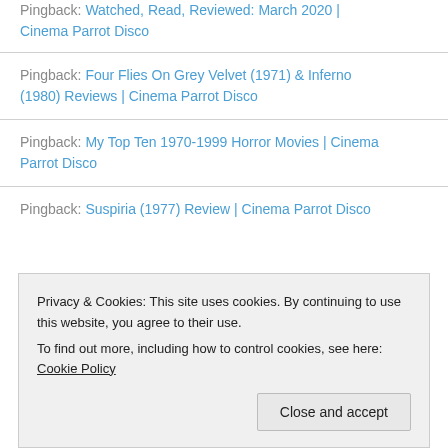Pingback: Watched, Read, Reviewed: March 2020 | Cinema Parrot Disco
Pingback: Four Flies On Grey Velvet (1971) & Inferno (1980) Reviews | Cinema Parrot Disco
Pingback: My Top Ten 1970-1999 Horror Movies | Cinema Parrot Disco
Pingback: Suspiria (1977) Review | Cinema Parrot Disco
Privacy & Cookies: This site uses cookies. By continuing to use this website, you agree to their use.
To find out more, including how to control cookies, see here: Cookie Policy